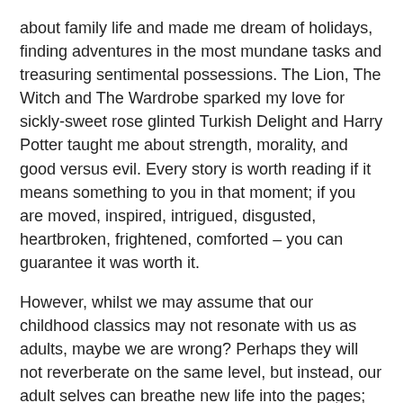about family life and made me dream of holidays, finding adventures in the most mundane tasks and treasuring sentimental possessions. The Lion, The Witch and The Wardrobe sparked my love for sickly-sweet rose glinted Turkish Delight and Harry Potter taught me about strength, morality, and good versus evil. Every story is worth reading if it means something to you in that moment; if you are moved, inspired, intrigued, disgusted, heartbroken, frightened, comforted – you can guarantee it was worth it.
However, whilst we may assume that our childhood classics may not resonate with us as adults, maybe we are wrong? Perhaps they will not reverberate on the same level, but instead, our adult selves can breathe new life into the pages; finding new meaning between the lines whilst finding fragments of our younger selves in the margins too.
The contents of books we loved as children may not leave us wide-eyed and captivated in the same way if we return to them years later but, they may serve as a reminder of our past and